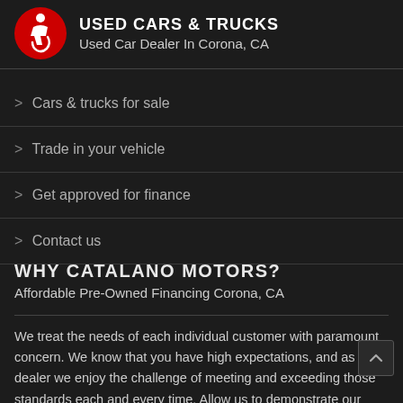USED CARS & TRUCKS
Used Car Dealer In Corona, CA
> Cars & trucks for sale
> Trade in your vehicle
> Get approved for finance
> Contact us
WHY CATALANO MOTORS?
Affordable Pre-Owned Financing Corona, CA
We treat the needs of each individual customer with paramount concern. We know that you have high expectations, and as a car dealer we enjoy the challenge of meeting and exceeding those standards each and every time. Allow us to demonstrate our commitment to excellence! Our experienced sales staff is eager to